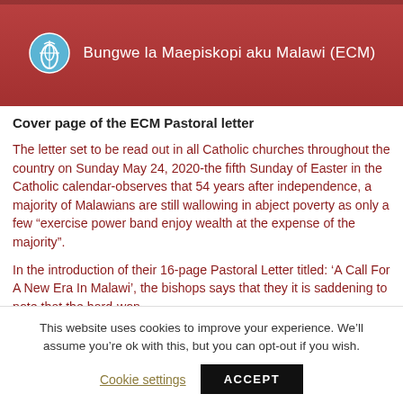[Figure (photo): Banner/cover image showing ECM (Episcopal Conference of Malawi) sign with logo and text 'Bungwe la Maepiskopi aku Malawi (ECM)' on a red/brown background.]
Cover page of the ECM Pastoral letter
The letter set to be read out in all Catholic churches throughout the country on Sunday May 24, 2020-the fifth Sunday of Easter in the Catholic calendar-observes that 54 years after independence, a majority of Malawians are still wallowing in abject poverty as only a few “exercise power band enjoy wealth at the expense of the majority”.
In the introduction of their 16-page Pastoral Letter titled: ‘A Call For A New Era In Malawi’, the bishops says that they it is saddening to note that the hard-won
This website uses cookies to improve your experience. We’ll assume you’re ok with this, but you can opt-out if you wish.
Cookie settings    ACCEPT